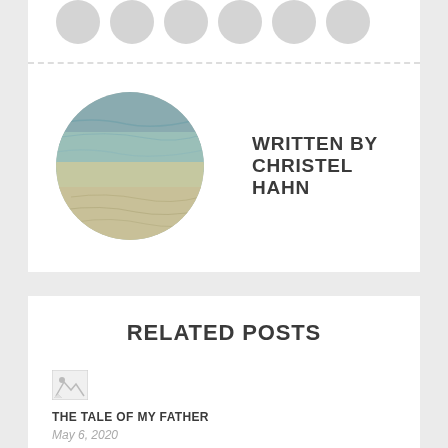[Figure (photo): Row of circular avatar placeholder icons at the top]
WRITTEN BY CHRISTEL HAHN
[Figure (photo): Circular avatar photo showing shallow clear water with sandy/rocky bottom]
RELATED POSTS
[Figure (photo): Small broken image thumbnail for related post]
THE TALE OF MY FATHER
May 6, 2020